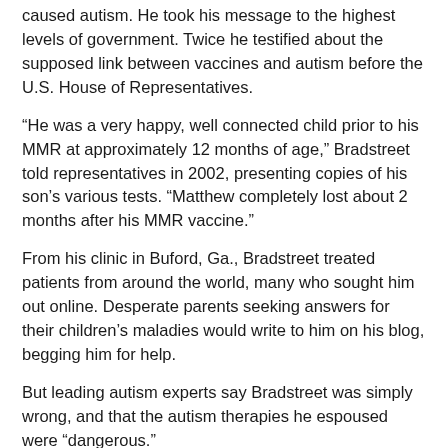caused autism. He took his message to the highest levels of government. Twice he testified about the supposed link between vaccines and autism before the U.S. House of Representatives.
“He was a very happy, well connected child prior to his MMR at approximately 12 months of age,” Bradstreet told representatives in 2002, presenting copies of his son’s various tests. “Matthew completely lost about 2 months after his MMR vaccine.”
From his clinic in Buford, Ga., Bradstreet treated patients from around the world, many who sought him out online. Desperate parents seeking answers for their children’s maladies would write to him on his blog, begging him for help.
But leading autism experts say Bradstreet was simply wrong, and that the autism therapies he espoused were “dangerous.”
“There is no evidence that vaccines cause autism,” Peter Jay Hotez, dean for the National School of Tropical Medicine at Baylor College of Medicine, told The Washington Post. “It is pseudoscience based on a misunderstanding of the whole neurobiology of autism.